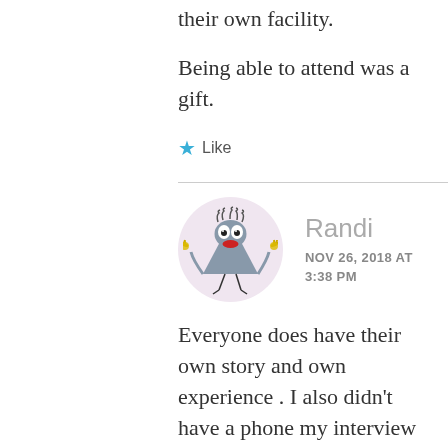their own facility.
Being able to attend was a gift.
★ Like
Randi
NOV 26, 2018 AT 3:38 PM
[Figure (illustration): Cartoon avatar of a funny triangular character with wild hair, wide eyes, yellow hands raised, red lips, on a lavender circle background]
Everyone does have their own story and own experience . I also didn't have a phone my interview